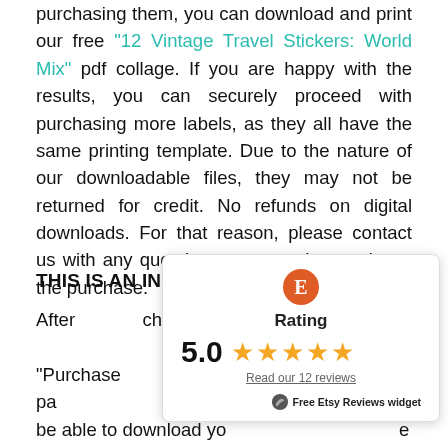purchasing them, you can download and print our free "12 Vintage Travel Stickers: World Mix" pdf collage. If you are happy with the results, you can securely proceed with purchasing more labels, as they all have the same printing template. Due to the nature of our downloadable files, they may not be returned for credit. No refunds on digital downloads. For that reason, please contact us with any questions you may have prior to the purchase.
THIS IS AN INSTANT DO
After checkout, you will "Purchase Confirmation" pa be able to download yo available once your payment is confirmed, for immediately after you click 'check out' for the free
[Figure (infographic): Etsy Reviews widget showing Rating 5.0 with 5 gold stars and 'Read our 12 reviews' link. Orange E circle icon at top. Footer shows 'Free Etsy Reviews widget' with a swoosh icon.]